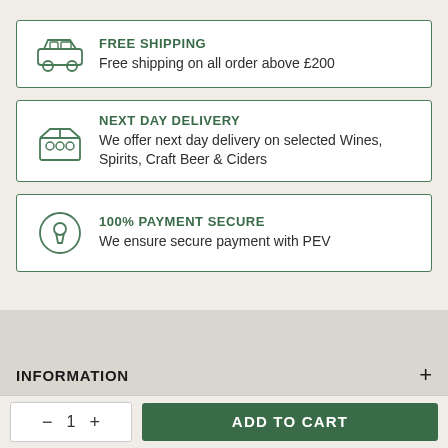[Figure (illustration): Car/truck outline icon representing shipping]
FREE SHIPPING
Free shipping on all order above £200
[Figure (illustration): Box/package icon representing next day delivery]
NEXT DAY DELIVERY
We offer next day delivery on selected Wines, Spirits, Craft Beer & Ciders
[Figure (illustration): Padlock/keyhole icon representing secure payment]
100% PAYMENT SECURE
We ensure secure payment with PEV
INFORMATION
ADD TO CART